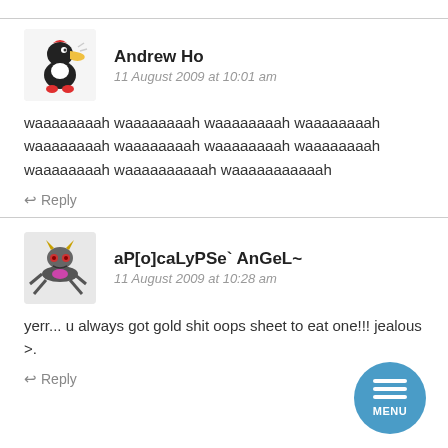Andrew Ho
11 August 2009 at 10:01 am
waaaaaaaah waaaaaaaah waaaaaaaah waaaaaaaah waaaaaaaah waaaaaaaah waaaaaaaah waaaaaaaah waaaaaaaah waaaaaaaah waaaaaaah
Reply
aP[o]caLyPSe` AnGeL~
11 August 2009 at 10:28 am
yerr... u always got gold shit oops sheet to eat one!!! jealous >.
Reply